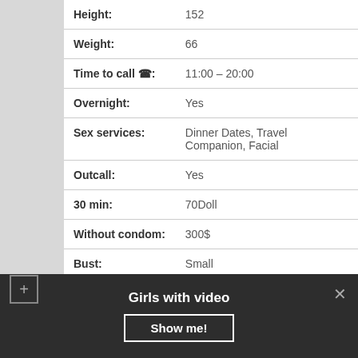| Field | Value |
| --- | --- |
| Height: | 152 |
| Weight: | 66 |
| Time to call ☎: | 11:00 – 20:00 |
| Overnight: | Yes |
| Sex services: | Dinner Dates, Travel Companion, Facial |
| Outcall: | Yes |
| 30 min: | 70Doll |
| Without condom: | 300$ |
| Bust: | Small |
More photo
Girls with video  Show me!